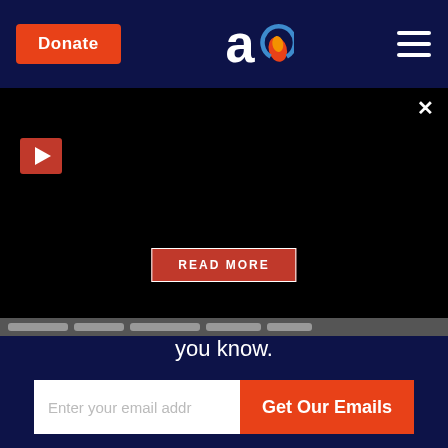Donate | [logo] | [menu]
[Figure (screenshot): Black video panel with red play button in top-left, close X button in top-right, and red READ MORE button centered near bottom]
you know.
[Figure (other): Email signup row: text input 'Enter your email addr' and orange button 'Get Our Emails']
We will never share your email address and you can unsubscribe in a single click.